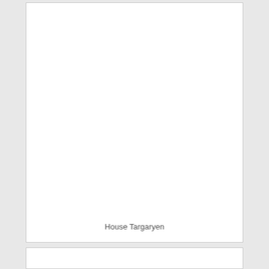[Figure (other): Large white rectangular card/image area, mostly blank white space with caption 'House Targaryen' near bottom]
House Targaryen
[Figure (other): Partial white rectangular card visible at bottom of page]